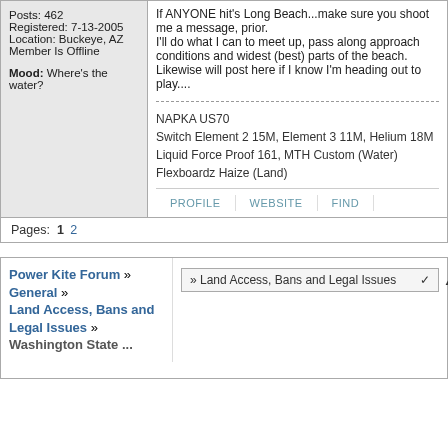Posts: 462
Registered: 7-13-2005
Location: Buckeye, AZ
Member Is Offline
Mood: Where's the water?
If ANYONE hit's Long Beach...make sure you shoot me a message, prior.
I'll do what I can to meet up, pass along approach conditions and widest (best) parts of the beach.
Likewise will post here if I know I'm heading out to play....
NAPKA US70
Switch Element 2 15M, Element 3 11M, Helium 18M
Liquid Force Proof 161, MTH Custom (Water)
Flexboardz Haize (Land)
PROFILE   WEBSITE   FIND
Pages: 1 2
Power Kite Forum » General » Land Access, Bans and Legal Issues » Washington State ...
» Land Access, Bans and Legal Issues